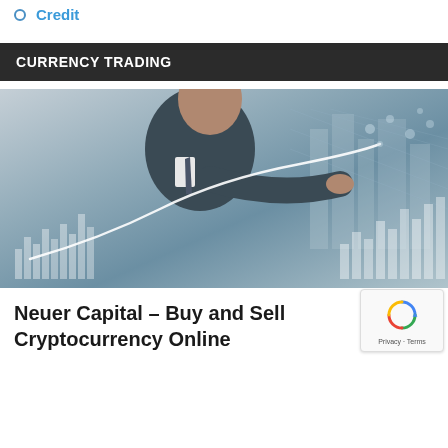Credit
CURRENCY TRADING
[Figure (photo): Businessman in suit pointing at a rising graph line with financial chart data overlaid, representing currency trading and financial markets.]
Neuer Capital – Buy and Sell Cryptocurrency Online